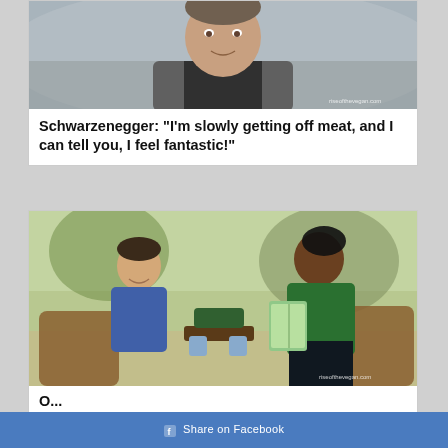[Figure (photo): Headshot of Arnold Schwarzenegger in a grey suit and black shirt, with watermark 'riseofthevegan.com']
Schwarzenegger: "I'm slowly getting off meat, and I can tell you, I feel fantastic!"
[Figure (photo): Two people sitting outdoors in wicker chairs having a conversation; one in blue shirt, one in green top holding a book, with watermark 'riseofthevegan.com']
O...
Share on Facebook